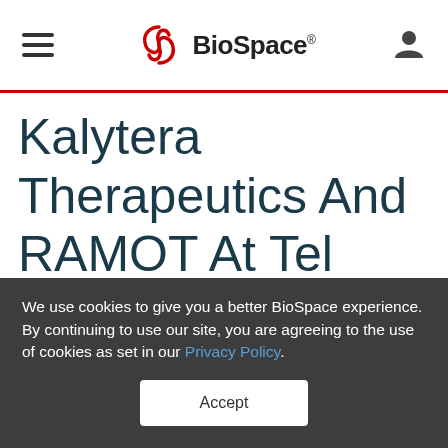BioSpace
Kalytera Therapeutics And RAMOT At Tel Aviv University To Study Novel Approach To Treating
We use cookies to give you a better BioSpace experience. By continuing to use our site, you are agreeing to the use of cookies as set in our Privacy Policy.
Accept